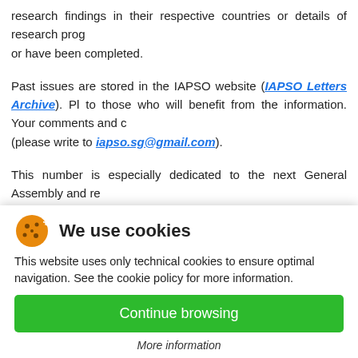research findings in their respective countries or details of research prog or have been completed.
Past issues are stored in the IAPSO website (IAPSO Letters Archive). Pl to those who will benefit from the information. Your comments and (please write to iapso.sg@gmail.com).
This number is especially dedicated to the next General Assembly and re
In this issue
We use cookies
This website uses only technical cookies to ensure optimal navigation. See the cookie policy for more information.
Continue browsing
More information